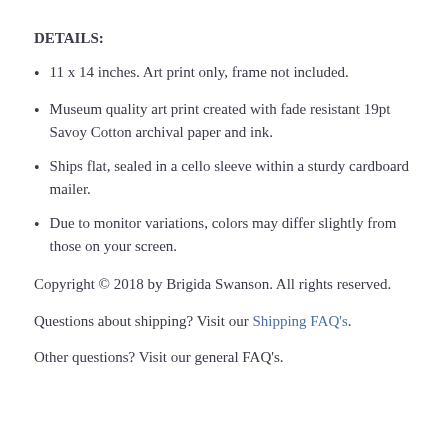DETAILS:
11 x 14 inches. Art print only, frame not included.
Museum quality art print created with fade resistant 19pt Savoy Cotton archival paper and ink.
Ships flat, sealed in a cello sleeve within a sturdy cardboard mailer.
Due to monitor variations, colors may differ slightly from those on your screen.
Copyright © 2018 by Brigida Swanson. All rights reserved.
Questions about shipping? Visit our Shipping FAQ's.
Other questions? Visit our general FAQ's.